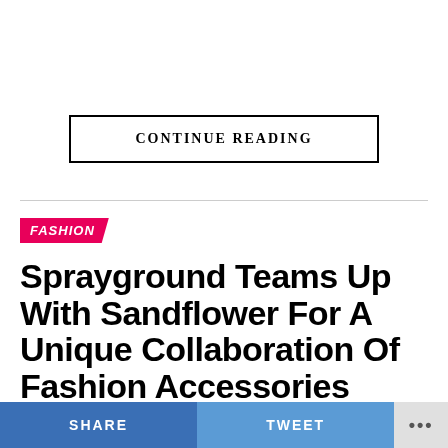CONTINUE READING
FASHION
Sprayground Teams Up With Sandflower For A Unique Collaboration Of Fashion Accessories Infusing New York and African Artistry
SHARE   TWEET   ...